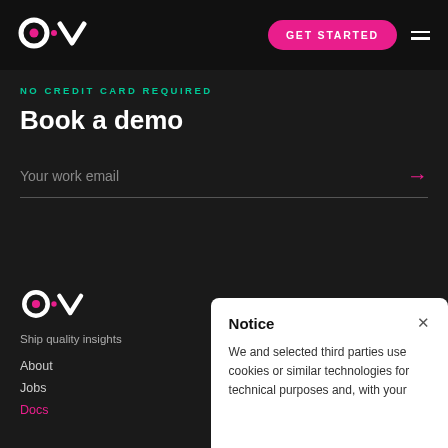[Figure (logo): AIVO logo in white on dark header background]
GET STARTED
NO CREDIT CARD REQUIRED
Book a demo
Your work email
[Figure (logo): AIVO logo in white on dark footer background]
Ship quality insights
About
Jobs
Docs
Notice
We and selected third parties use cookies or similar technologies for technical purposes and, with your